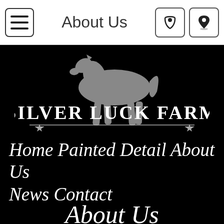About Us
[Figure (logo): Silver Luck Farm logo with a gray horse silhouette walking above the text 'Silver Luck Farm' in bold serif uppercase letters, with a decorative star-and-line border below]
Home Painted Detail About Us News Contact
About Us
Silver Luck Farm is a small, private facility owned by Tresmon and Lauren Smith, located just outside of San Antonio in Marion, Texas.